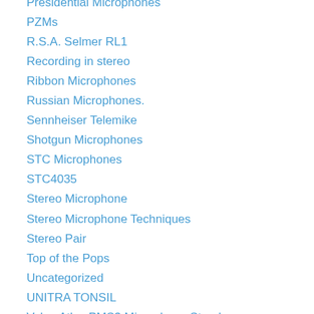Presidential Microphones
PZMs
R.S.A. Selmer RL1
Recording in stereo
Ribbon Microphones
Russian Microphones.
Sennheiser Telemike
Shotgun Microphones
STC Microphones
STC4035
Stereo Microphone
Stereo Microphone Techniques
Stereo Pair
Top of the Pops
Uncategorized
UNITRA TONSIL
Valan Atlas PMS3 Microphone Stand
Vintage Broadcasting
Vintage Brochures and Tech Specs
Vintage film recording